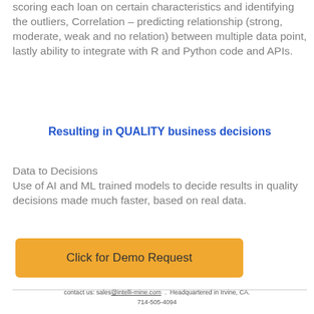scoring each loan on certain characteristics and identifying the outliers, Correlation – predicting relationship (strong, moderate, weak and no relation) between multiple data point, lastly ability to integrate with R and Python code and APIs.
Resulting in QUALITY business decisions
Data to Decisions
Use of AI and ML trained models to decide results in quality decisions made much faster, based on real data.
[Figure (other): Orange button labeled 'Click for Demo Request']
contact us: sales@intelli-mine.com  .  Headquartered in Irvine, CA.
714-505-4094